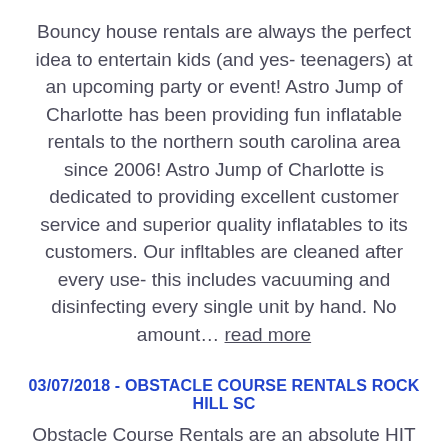Bouncy house rentals are always the perfect idea to entertain kids (and yes- teenagers) at an upcoming party or event! Astro Jump of Charlotte has been providing fun inflatable rentals to the northern south carolina area since 2006! Astro Jump of Charlotte is dedicated to providing excellent customer service and superior quality inflatables to its customers. Our infltables are cleaned after every use- this includes vacuuming and disinfecting every single unit by hand. No amount… read more
03/07/2018 - OBSTACLE COURSE RENTALS ROCK HILL SC
Obstacle Course Rentals are an absolute HIT for all age groups! Astro Jump of Charlotte provides obstacle course rentals for School